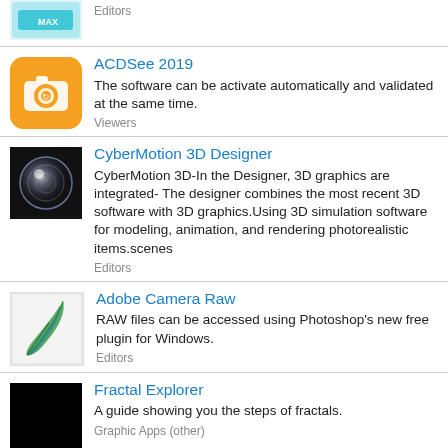[Figure (logo): Partial top entry icon (3ds Max or similar, teal/blue)]
Editors
[Figure (logo): ACDSee 2019 orange camera icon]
ACDSee 2019
The software can be activate automatically and validated at the same time.
Viewers
[Figure (logo): CyberMotion 3D Designer dark sphere icon]
CyberMotion 3D Designer
CyberMotion 3D-In the Designer, 3D graphics are integrated- The designer combines the most recent 3D software with 3D graphics.Using 3D simulation software for modeling, animation, and rendering photorealistic items.scenes
Editors
[Figure (logo): Adobe Camera Raw feather icon on light background]
Adobe Camera Raw
RAW files can be accessed using Photoshop's new free plugin for Windows.
Editors
[Figure (logo): Fractal Explorer black icon]
Fractal Explorer
A guide showing you the steps of fractals.
Graphic Apps (other)